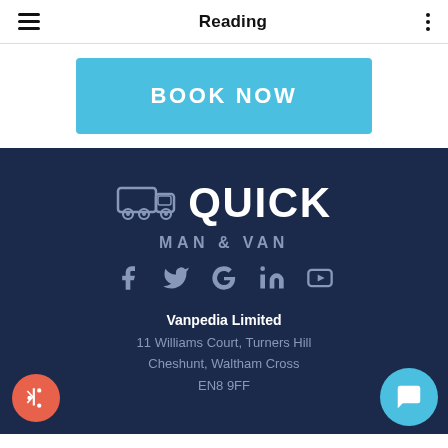Reading
[Figure (screenshot): BOOK NOW button in sky blue]
[Figure (logo): Quick Man & Van logo with truck icon and social media icons]
Vanpedia Limited
11 Williams Court, Turners Hill
Cheshunt, Waltham Cross
EN8 9FF